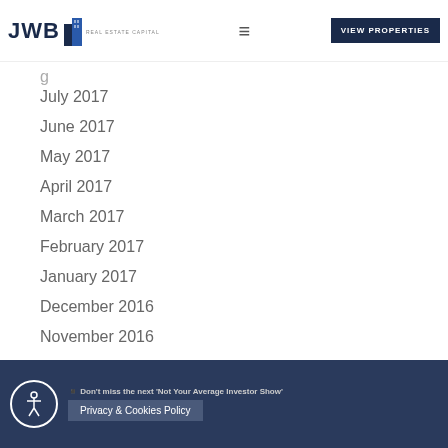JWB Real Estate Capital — VIEW PROPERTIES
July 2017
June 2017
May 2017
April 2017
March 2017
February 2017
January 2017
December 2016
November 2016
October 2016
Don't miss the next 'Not Your Average Investor Show' — Privacy & Cookies Policy